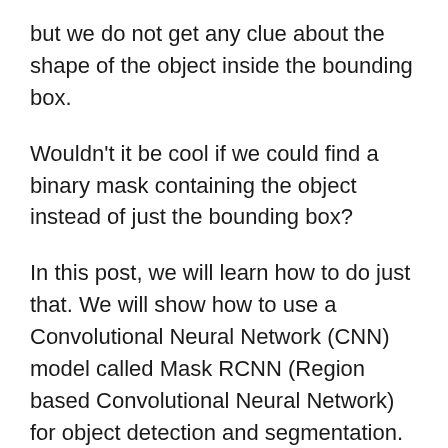but we do not get any clue about the shape of the object inside the bounding box.
Wouldn't it be cool if we could find a binary mask containing the object instead of just the bounding box?
In this post, we will learn how to do just that. We will show how to use a Convolutional Neural Network (CNN) model called Mask RCNN (Region based Convolutional Neural Network) for object detection and segmentation. Using Mask-RCNN we not only detect the object, we also obtain a greyscale or binary mask containing the object.
The results in this tutorial are obtained using a Mac OS 2.5 GHz Intel Core i7 CPU. The inference time is from 350 ms to…